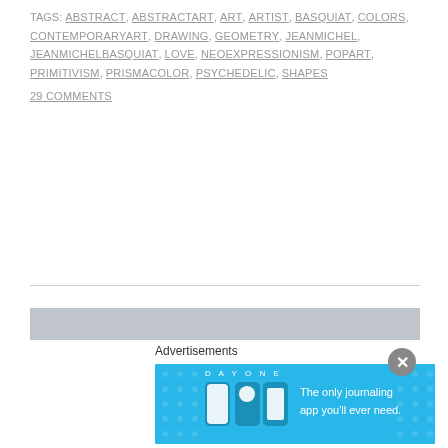TAGS: ABSTRACT, ABSTRACTART, ART, ARTIST, BASQUIAT, COLORS, CONTEMPORARYART, DRAWING, GEOMETRY, JEANMICHEL, JEANMICHELBASQUIAT, LOVE, NEOEXPRESSIONISM, POPART, PRIMITIVISM, PRISMACOLOR, PSYCHEDELIC, SHAPES
29 COMMENTS
[Figure (illustration): A pencil sketch on light gray paper showing a large geometric polygon/low-poly animal shape (possibly a bear or large creature) composed of interconnected triangular facets drawn in pencil lines.]
Advertisements
[Figure (screenshot): Advertisement banner for Day One journaling app on a blue background, showing app icons and the text 'The only journaling app you'll ever need.']